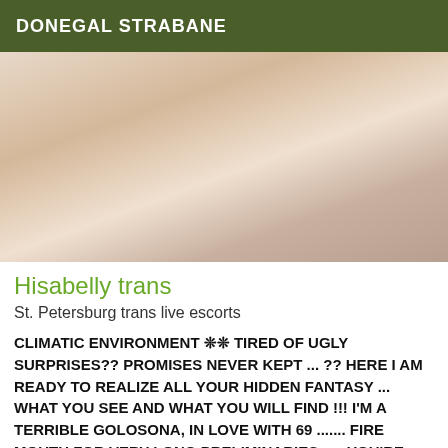DONEGAL STRABANE
[Figure (photo): Close-up photograph of a person wearing pink lingerie, viewed from behind, against a light background.]
Hisabelly trans
St. Petersburg trans live escorts
CLIMATIC ENVIRONMENT ❊❊ TIRED OF UGLY SURPRISES?? PROMISES NEVER KEPT ... ?? HERE I AM READY TO REALIZE ALL YOUR HIDDEN FANTASY ... WHAT YOU SEE AND WHAT YOU WILL FIND !!! I'M A TERRIBLE GOLOSONA, IN LOVE WITH 69 ....... FIRE MOUTH FOR VERY LONG PRELIMINARIES ..... YOU'RE GOING TO REMEMBER ME WITH THE ENTIRE BALLS...